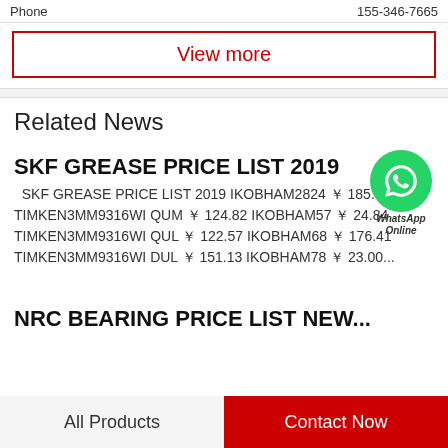Phone  155-346-7665
View more
Related News
SKF GREASE PRICE LIST 2019
SKF GREASE PRICE LIST 2019 IKOBHAM2824 ￥ 185.95 TIMKEN3MM9316WI QUM ￥ 124.82 IKOBHAM57 ￥ 24.84 TIMKEN3MM9316WI QUL ￥ 122.57 IKOBHAM68 ￥ 176.41 TIMKEN3MM9316WI DUL ￥ 151.13 IKOBHAM78 ￥ 23.00...
NRC BEARING PRICE LIST NEW...
All Products   Contact Now